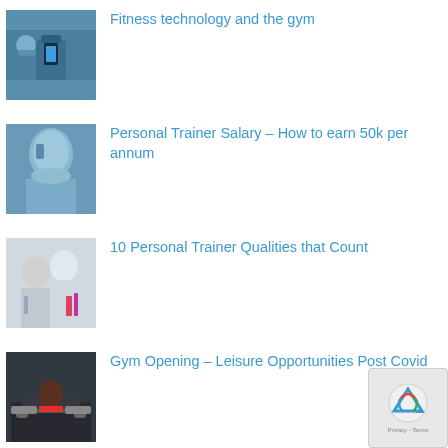[Figure (photo): Person wearing a smartwatch, blue tones]
Fitness technology and the gym
[Figure (photo): Personal trainer or athlete, blue-tinted photo]
Personal Trainer Salary – How to earn 50k per annum
[Figure (photo): Two women in gym, one training with resistance band]
10 Personal Trainer Qualities that Count
[Figure (photo): Man doing push-ups with dumbbells in gym]
Gym Opening – Leisure Opportunities Post Covid